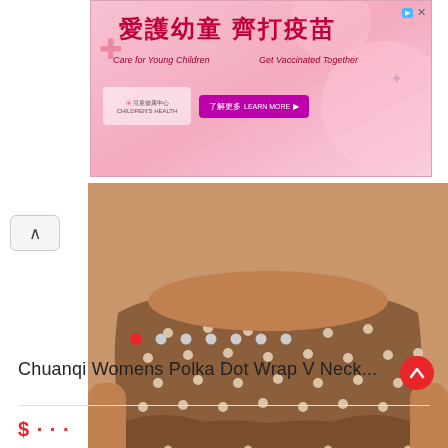[Figure (photo): Pink advertisement banner with Chinese text '愛護幼童 齊打疫苗' and English text 'Care for Young Children / Get Vaccinated Together' with a purple button]
[Figure (photo): Product photo of a woman wearing a brown polka dot wrap ruffled mini skirt/dress]
Chuanqi Womens Polka Dot Wrap V Neck...